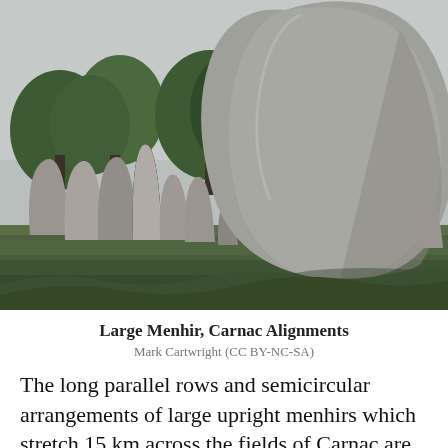[Figure (photo): Photograph of large standing stones (menhirs) at Carnac Alignments, France. A very large rounded boulder dominates the right side, with several smaller upright stones visible to the left. Background shows green trees and an overcast grey sky. Grass grows at the base of the stones.]
Large Menhir, Carnac Alignments
Mark Cartwright (CC BY-NC-SA)
The long parallel rows and semicircular arrangements of large upright menhirs which stretch 15 km across the fields of Carnac are